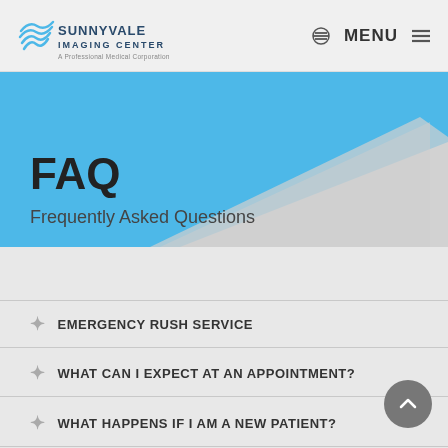Sunnyvale Imaging Center - A Professional Medical Corporation
FAQ
Frequently Asked Questions
EMERGENCY RUSH SERVICE
WHAT CAN I EXPECT AT AN APPOINTMENT?
WHAT HAPPENS IF I AM A NEW PATIENT?